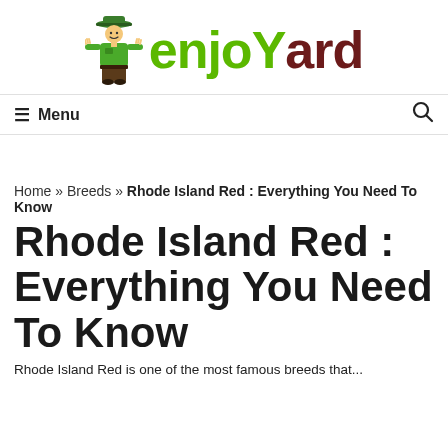[Figure (logo): Enjoyard website logo with scarecrow mascot and green/dark-red wordmark 'the enjoyard']
≡ Menu
Home » Breeds » Rhode Island Red : Everything You Need To Know
Rhode Island Red : Everything You Need To Know
Rhode Island Red is one of the most famous breeds that...